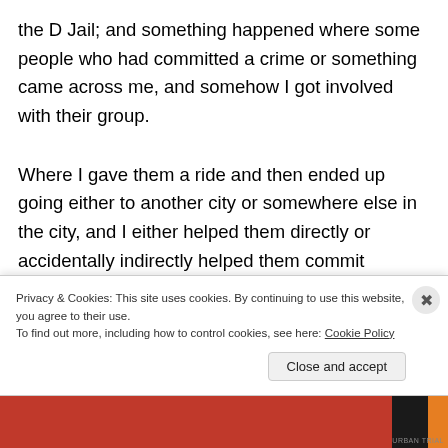the D Jail; and something happened where some people who had committed a crime or something came across me, and somehow I got involved with their group.
Where I gave them a ride and then ended up going either to another city or somewhere else in the city, and I either helped them directly or accidentally indirectly helped them commit a...
Privacy & Cookies: This site uses cookies. By continuing to use this website, you agree to their use. To find out more, including how to control cookies, see here: Cookie Policy
Close and accept